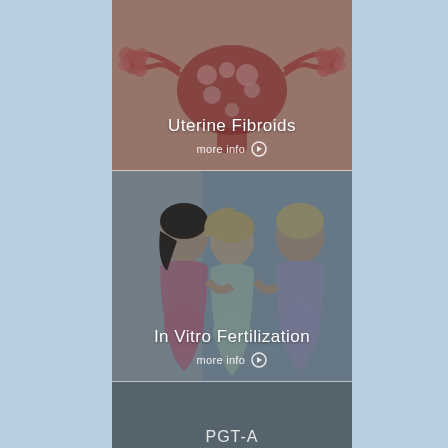[Figure (illustration): Medical illustration card showing uterine fibroids anatomical diagram with text overlay 'Uterine Fibroids' and 'more info' button with arrow circle]
[Figure (photo): Photo of three pregnant women smiling and looking down at their bellies together, with text overlay 'In Vitro Fertilization' and 'more info' button with arrow circle]
[Figure (illustration): Partially visible card panel for PGT-A topic, dark gray background, text partially cut off at bottom]